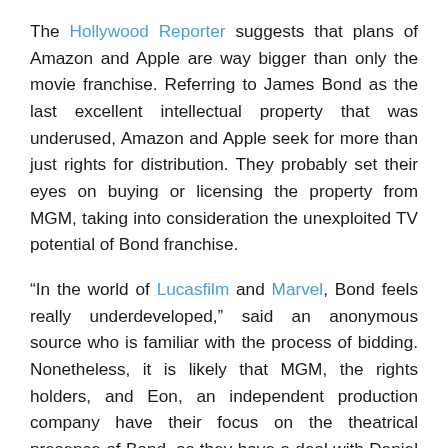The Hollywood Reporter suggests that plans of Amazon and Apple are way bigger than only the movie franchise. Referring to James Bond as the last excellent intellectual property that was underused, Amazon and Apple seek for more than just rights for distribution. They probably set their eyes on buying or licensing the property from MGM, taking into consideration the unexploited TV potential of Bond franchise.
“In the world of Lucasfilm and Marvel, Bond feels really underdeveloped,” said an anonymous source who is familiar with the process of bidding. Nonetheless, it is likely that MGM, the rights holders, and Eon, an independent production company have their focus on the theatrical presence of Bond, as they have a deal with Daniel Craig for yet another Bond movie set which will be released on November 8, 2019.